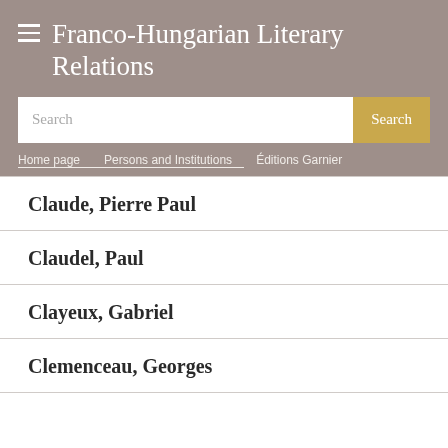Franco-Hungarian Literary Relations
Search
Home page | Persons and Institutions | Éditions Garnier
Claude, Pierre Paul
Claudel, Paul
Clayeux, Gabriel
Clemenceau, Georges